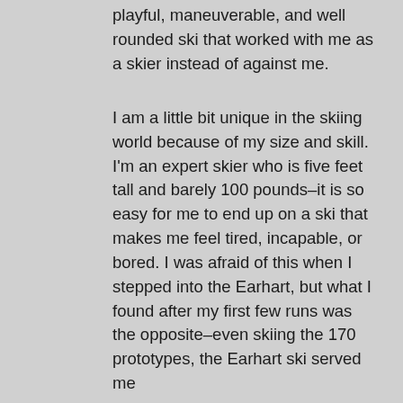playful, maneuverable, and well rounded ski that worked with me as a skier instead of against me.
I am a little bit unique in the skiing world because of my size and skill. I'm an expert skier who is five feet tall and barely 100 pounds–it is so easy for me to end up on a ski that makes me feel tired, incapable, or bored. I was afraid of this when I stepped into the Earhart, but what I found after my first few runs was the opposite–even skiing the 170 prototypes, the Earhart ski served me